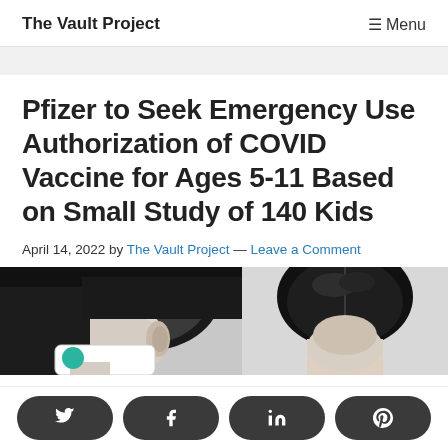The Vault Project   ≡ Menu
Pfizer to Seek Emergency Use Authorization of COVID Vaccine for Ages 5-11 Based on Small Study of 140 Kids
April 14, 2022 by The Vault Project — Leave a Comment
[Figure (photo): Black and white photo of two children, one wearing a mask viewed from the side, and another child viewed from above/back.]